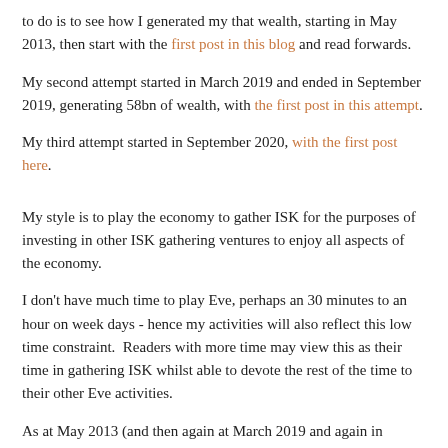to do is to see how I generated my that wealth, starting in May 2013, then start with the first post in this blog and read forwards.
My second attempt started in March 2019 and ended in September 2019, generating 58bn of wealth, with the first post in this attempt.
My third attempt started in September 2020, with the first post here.
My style is to play the economy to gather ISK for the purposes of investing in other ISK gathering ventures to enjoy all aspects of the economy.
I don't have much time to play Eve, perhaps an 30 minutes to an hour on week days - hence my activities will also reflect this low time constraint.  Readers with more time may view this as their time in gathering ISK whilst able to devote the rest of the time to their other Eve activities.
As at May 2013 (and then again at March 2019 and again in September 2020), my character was new and I only had a few